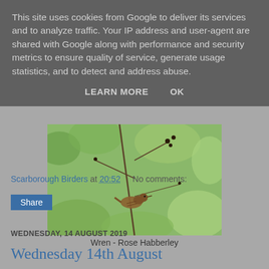This site uses cookies from Google to deliver its services and to analyze traffic. Your IP address and user-agent are shared with Google along with performance and security metrics to ensure quality of service, generate usage statistics, and to detect and address abuse.
LEARN MORE   OK
[Figure (photo): Photo of a Wren bird among branches and green foliage]
Wren - Rose Habberley
Scarborough Birders at 20:52   No comments:
Share
WEDNESDAY, 14 AUGUST 2019
Wednesday 14th August...